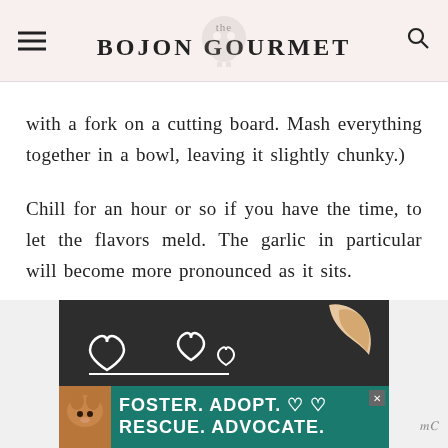the BOJON GOURMET
with a fork on a cutting board. Mash everything together in a bowl, leaving it slightly chunky.)
Chill for an hour or so if you have the time, to let the flavors meld. The garlic in particular will become more pronounced as it sits.
[Figure (other): Advertisement banner: dark background with heart outlines and a dog illustration; teal lower section reads FOSTER. ADOPT. RESCUE. ADVOCATE.]